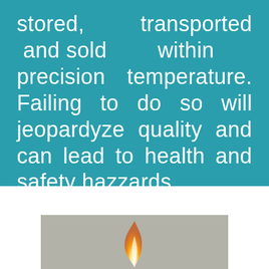stored, transported and sold within precision temperature. Failing to do so will jeopardyze quality and can lead to health and safety hazzards.
[Figure (photo): A candle flame photographed against a gray background, showing the lower portion of the flame with warm orange and white tones.]